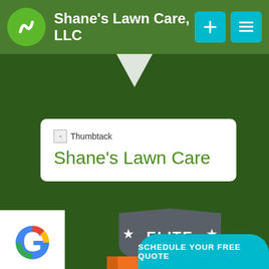Shane's Lawn Care, LLC
[Figure (logo): Shane's Lawn Care logo - green circle with S-curve icon]
[Figure (screenshot): Thumbtack listing card showing broken image placeholder and 'Shane's Lawn Care' text in green]
[Figure (logo): Google G logo in white box]
[Figure (infographic): Elite Service badge - gray shield top with stars and ELITE text, orange ribbon with SERVICE text]
SCHEDULE YOUR FREE QUOTE